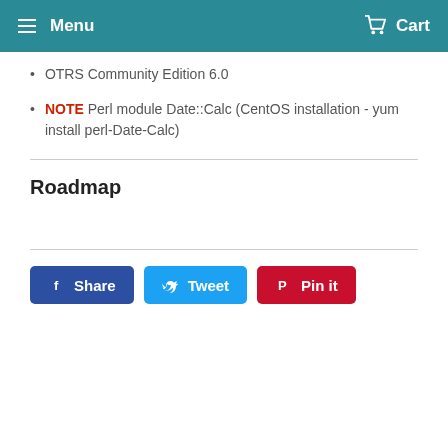Menu  Cart
OTRS Community Edition 6.0
NOTE Perl module Date::Calc (CentOS installation - yum install perl-Date-Calc)
Roadmap
Share  Tweet  Pin it